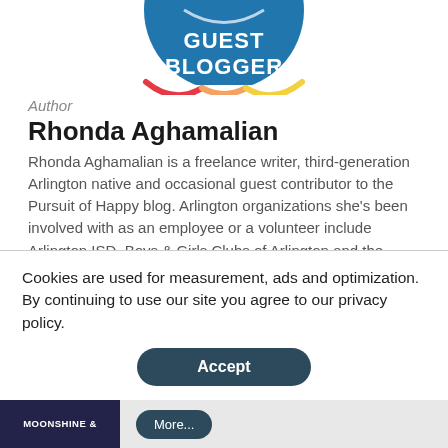[Figure (logo): Guest Blogger circular badge with blue background, white text reading GUEST BLOGGER, and colorful striped bottom arc]
Author
Rhonda Aghamalian
Rhonda Aghamalian is a freelance writer, third-generation Arlington native and occasional guest contributor to the Pursuit of Happy blog. Arlington organizations she's been involved with as an employee or a volunteer include Arlington ISD, Boys & Girls Clubs of Arlington and the Junior League of Arlington.
Cookies are used for measurement, ads and optimization. By continuing to use our site you agree to our privacy policy.
[Figure (screenshot): Accept button for cookie consent — dark teal rounded rectangle button with white text Accept]
[Figure (screenshot): Bottom bar with MOONSHINE & thumbnail on left and a partial More button on right]